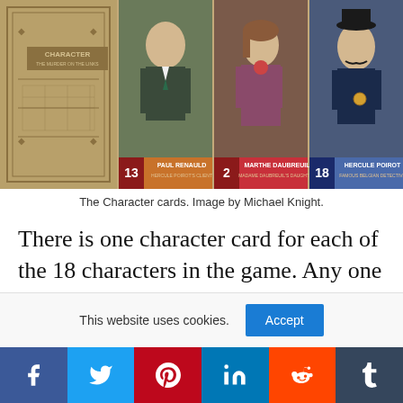[Figure (photo): Character cards from Murder on the Links board game showing card backs and three character cards: Paul Renauld (#13, Hercule Poirot's Client), Marthe Daubreuil (#2, Madame Daubreuil's Daughter), and Hercule Poirot (#18, Famous Belgian Detective)]
The Character cards. Image by Michael Knight.
There is one character card for each of the 18 characters in the game. Any one of them could be the murderer. Each of the three types of cards has a variety of information. Across the top, the text and color show the card’s set. The number at the top right is the card’s point value while the number at the bottom left is the card’s numerical rank from
This website uses cookies.
Accept